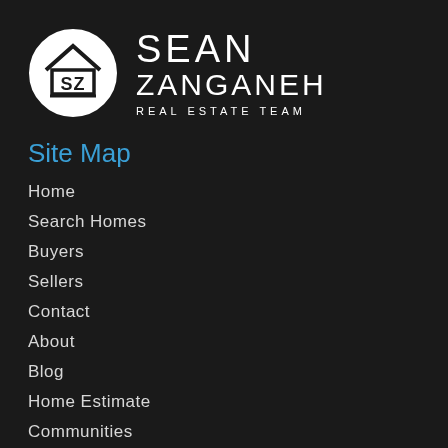[Figure (logo): Sean Zanganeh Real Estate Team logo with circular SZ icon and text]
Site Map
Home
Search Homes
Buyers
Sellers
Contact
About
Blog
Home Estimate
Communities
Join Our Team
Map Search